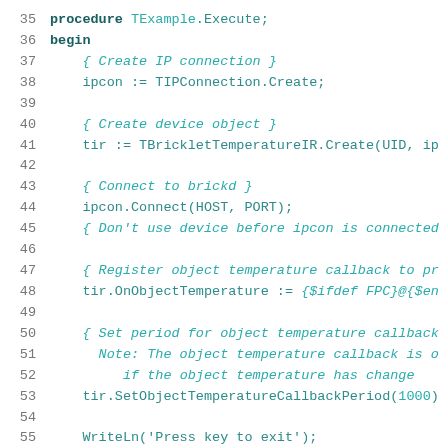35    procedure TExample.Execute;
36    begin
37        { Create IP connection }
38        ipcon := TIPConnection.Create;
39
40        { Create device object }
41        tir := TBrickletTemperatureIR.Create(UID, ip
42
43        { Connect to brickd }
44        ipcon.Connect(HOST, PORT);
45        { Don't use device before ipcon is connected
46
47        { Register object temperature callback to pr
48        tir.OnObjectTemperature := {$ifdef FPC}@{$en
49
50        { Set period for object temperature callback
51          Note: The object temperature callback is o
52               if the object temperature has change
53        tir.SetObjectTemperatureCallbackPeriod(1000)
54
55      WriteLn('Press key to exit');